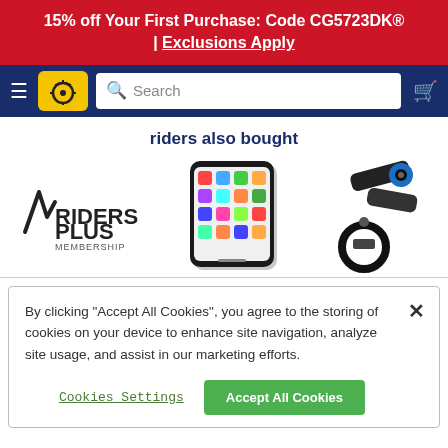15% off Your First Purchase: Code CG5723DK® | Exclusions Apply
[Figure (screenshot): Navigation bar with hamburger menu, yellow logo icon with wheel, search field, and cart icon on navy background]
riders also bought
[Figure (logo): Riders Plus Membership logo - black checkmark-like symbol with RIDERS PLUS text and MEMBERSHIP subtitle]
[Figure (photo): Smartphone (iPhone-style) standing upright showing colorful app grid on screen]
[Figure (photo): Black and blue bicycle handlebar phone mount hardware accessory]
By clicking "Accept All Cookies", you agree to the storing of cookies on your device to enhance site navigation, analyze site usage, and assist in our marketing efforts.
Cookies Settings
Accept All Cookies